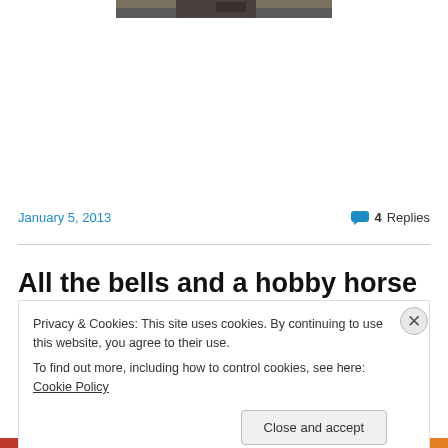[Figure (photo): Partial photo strip at top of page showing a dark interior scene]
January 5, 2013
4 Replies
All the bells and a hobby horse
Privacy & Cookies: This site uses cookies. By continuing to use this website, you agree to their use.
To find out more, including how to control cookies, see here: Cookie Policy
Close and accept